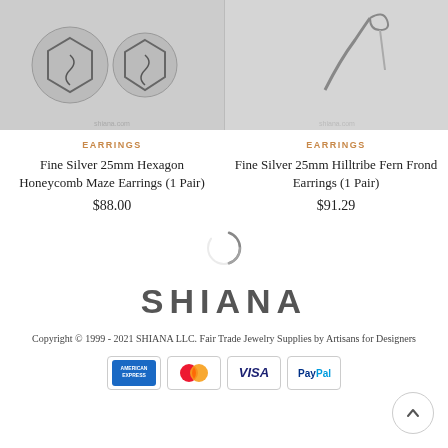[Figure (photo): Photo of Fine Silver 25mm Hexagon Honeycomb Maze Earrings on light background]
[Figure (photo): Photo of Fine Silver 25mm Hilltribe Fern Frond Earrings on light background]
EARRINGS
Fine Silver 25mm Hexagon Honeycomb Maze Earrings (1 Pair)
$88.00
EARRINGS
Fine Silver 25mm Hilltribe Fern Frond Earrings (1 Pair)
$91.29
[Figure (other): Loading spinner circle icon]
SHIANA
Copyright © 1999 - 2021 SHIANA LLC. Fair Trade Jewelry Supplies by Artisans for Designers
[Figure (other): Payment method badges: American Express, Mastercard, Visa, PayPal]